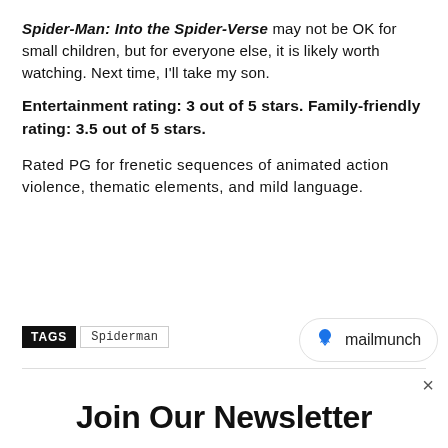Spider-Man: Into the Spider-Verse may not be OK for small children, but for everyone else, it is likely worth watching. Next time, I'll take my son.
Entertainment rating: 3 out of 5 stars. Family-friendly rating: 3.5 out of 5 stars.
Rated PG for frenetic sequences of animated action violence, thematic elements, and mild language.
TAGS   Spiderman
[Figure (logo): Mailmunch logo badge with blue flame icon and 'mailmunch' text]
×
Join Our Newsletter